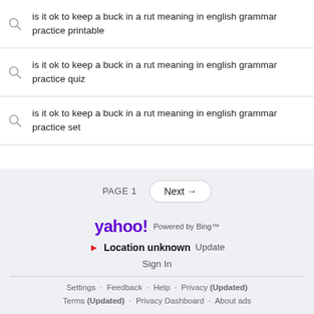is it ok to keep a buck in a rut meaning in english grammar practice printable
is it ok to keep a buck in a rut meaning in english grammar practice quiz
is it ok to keep a buck in a rut meaning in english grammar practice set
PAGE 1
Next →
[Figure (logo): Yahoo! logo with 'Powered by Bing™' text]
▶ Location unknown  Update
Sign In
Settings  Feedback  Help  Privacy (Updated)  Terms (Updated)  Privacy Dashboard  About ads